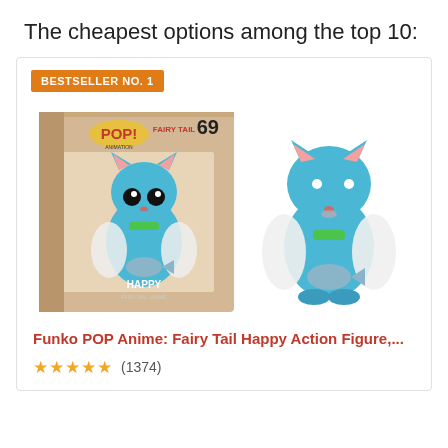The cheapest options among the top 10:
BESTSELLER NO. 1
[Figure (photo): Funko POP Anime Fairy Tail Happy Action Figure #69 - product photo showing box and figurine of a blue cat character with wings holding a fish]
Funko POP Anime: Fairy Tail Happy Action Figure,...
★★★★★ (1374)